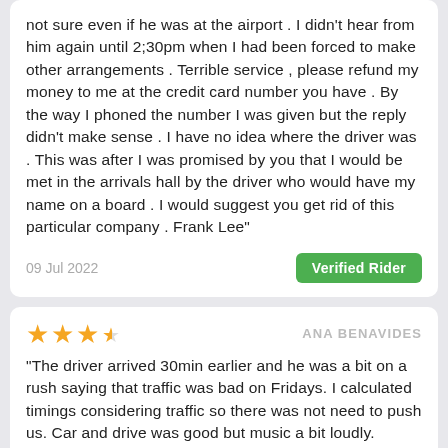not sure even if he was at the airport . I didn't hear from him again until 2;30pm when I had been forced to make other arrangements . Terrible service , please refund my money to me at the credit card number you have . By the way I phoned the number I was given but the reply didn't make sense . I have no idea where the driver was . This was after I was promised by you that I would be met in the arrivals hall by the driver who would have my name on a board . I would suggest you get rid of this particular company . Frank Lee"
09 Jul 2022
Verified Rider
ANA BENAVIDES
"The driver arrived 30min earlier and he was a bit on a rush saying that traffic was bad on Fridays. I calculated timings considering traffic so there was not need to push us. Car and drive was good but music a bit loudly. Overall good service though driver not too friendly. "